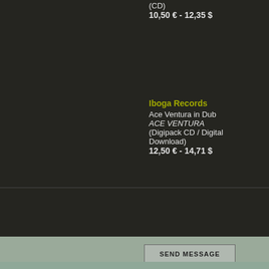(CD)
10,50 € - 12,35 $
Iboga Records
Ace Ventura in Dub
ACE VENTURA
(Digipack CD / Digital Download)
12,50 € - 14,71 $
View all our items
Procyon Records
Liquid Hologram
INNERACTION (Digipack CD)
3,90 € - 4,59 $
View all our offers
SEND MESSAGE